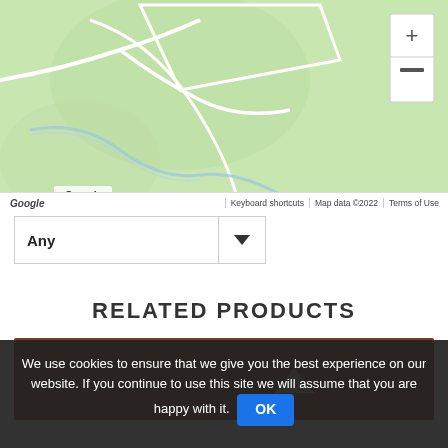[Figure (map): Google Maps satellite/terrain view showing green landscape with white road lines and a light blue stream. Zoom controls (+/-) visible on top right.]
Any
RELATED PRODUCTS
[Figure (photo): Partial product image showing a brown wooden background with a small light-colored object visible, appearing to be a product listing thumbnail.]
We use cookies to ensure that we give you the best experience on our website. If you continue to use this site we will assume that you are happy with it. OK